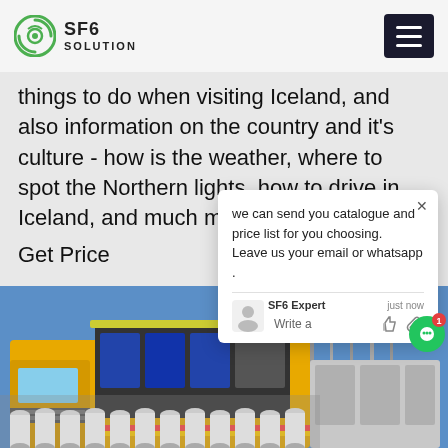SF6 SOLUTION
things to do when visiting Iceland, and also information on the country and it's culture - how is the weather, where to spot the Northern lights, how to drive in Iceland, and much more.
Get Price
we can send you catalogue and price list for you choosing.
Leave us your email or whatsapp .
SF6 Expert   just now
Write a
[Figure (photo): SF6 gas service truck (yellow) with open side panel revealing equipment inside, surrounded by gas cylinders in foreground, electrical substation equipment in background, photographed outdoors under blue sky]